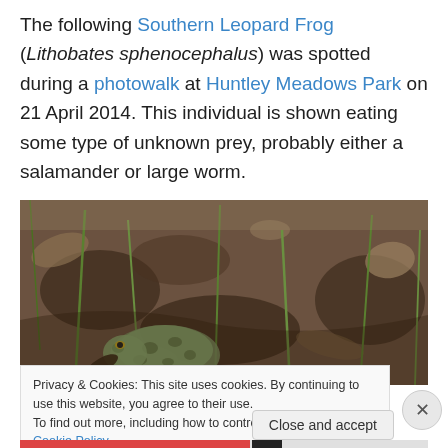The following Southern Leopard Frog (Lithobates sphenocephalus) was spotted during a photowalk at Huntley Meadows Park on 21 April 2014. This individual is shown eating some type of unknown prey, probably either a salamander or large worm.
[Figure (photo): Close-up photograph of a Southern Leopard Frog (Lithobates sphenocephalus) on muddy ground with grass shoots, appearing to eat prey.]
Privacy & Cookies: This site uses cookies. By continuing to use this website, you agree to their use. To find out more, including how to control cookies, see here: Cookie Policy